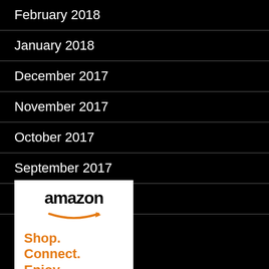February 2018
January 2018
December 2017
November 2017
October 2017
September 2017
August 2017
[Figure (logo): Amazon advertisement: 'Shop. Connect. Enjoy. All from Earth's' with Amazon logo and orange arrow]